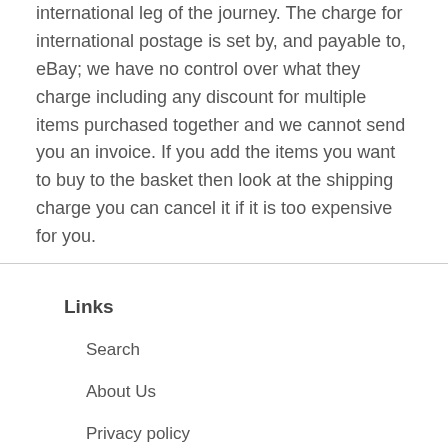international leg of the journey. The charge for international postage is set by, and payable to, eBay; we have no control over what they charge including any discount for multiple items purchased together and we cannot send you an invoice. If you add the items you want to buy to the basket then look at the shipping charge you can cancel it if it is too expensive for you.
Links
Search
About Us
Privacy policy